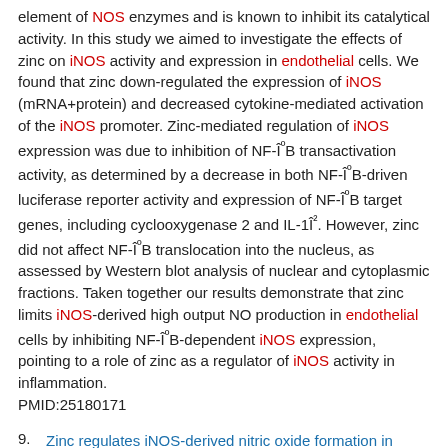element of NOS enzymes and is known to inhibit its catalytical activity. In this study we aimed to investigate the effects of zinc on iNOS activity and expression in endothelial cells. We found that zinc down-regulated the expression of iNOS (mRNA+protein) and decreased cytokine-mediated activation of the iNOS promoter. Zinc-mediated regulation of iNOS expression was due to inhibition of NF-ÎºB transactivation activity, as determined by a decrease in both NF-ÎºB-driven luciferase reporter activity and expression of NF-ÎºB target genes, including cyclooxygenase 2 and IL-1Î². However, zinc did not affect NF-ÎºB translocation into the nucleus, as assessed by Western blot analysis of nuclear and cytoplasmic fractions. Taken together our results demonstrate that zinc limits iNOS-derived high output NO production in endothelial cells by inhibiting NF-ÎºB-dependent iNOS expression, pointing to a role of zinc as a regulator of iNOS activity in inflammation. PMID:25180171
9. Zinc regulates iNOS-derived nitric oxide formation in endothelial cells
Directory of Open Access Journals (Sweden)